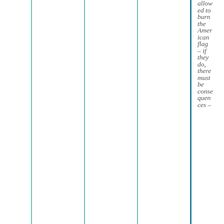allow ed to burn the Amer ican flag – if they do, there must be conse quen ces –